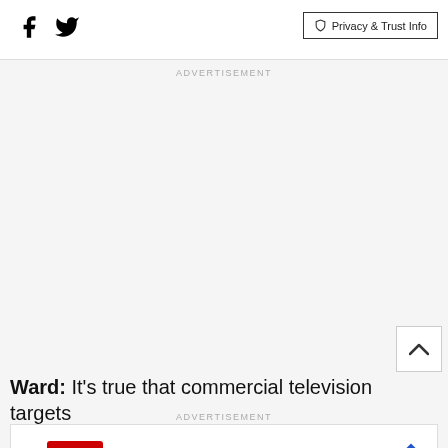Social icons and Privacy & Trust Info
ADVERTISEMENT
Ward: It's true that commercial television targets
ADVERTISEMENT
[Figure (other): CVS Pharmacy banner ad with checkmarks for In-store shopping, Drive-through, and Delivery]